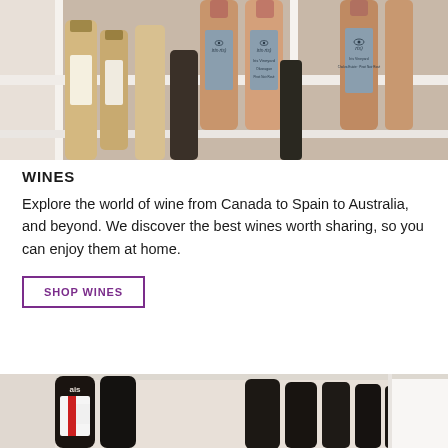[Figure (photo): Close-up photo of wine bottles on white shelves, showing 'Iris' branded rosé wines labeled 'Iris Vineyard' and 'Chakra Estate Pinot Noir Rosé']
WINES
Explore the world of wine from Canada to Spain to Australia, and beyond. We discover the best wines worth sharing, so you can enjoy them at home.
SHOP WINES
[Figure (photo): Close-up photo of dark beer/craft beverage bottles on shelves, partially visible at the bottom of the page]